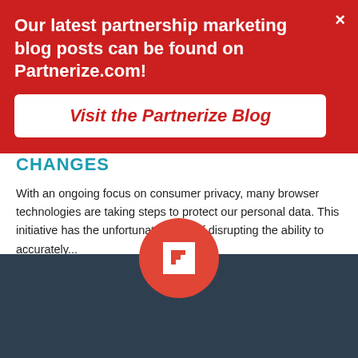Our latest partnership marketing blog posts can be found on Partnerize.com!
Visit the Partnerize Blog
CHANGES
With an ongoing focus on consumer privacy, many browser technologies are taking steps to protect our personal data. This initiative has the unfortunate effect of disrupting the ability to accurately...
Topics: ITP, Privacy
READ MORE
[Figure (logo): Partnerize logo: white interlocking squares on red/orange circle]